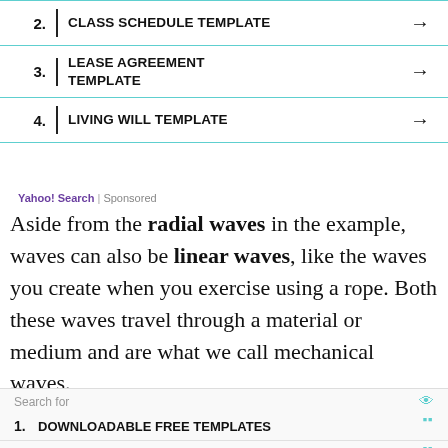2. CLASS SCHEDULE TEMPLATE →
3. LEASE AGREEMENT TEMPLATE →
4. LIVING WILL TEMPLATE →
Yahoo! Search | Sponsored
Aside from the radial waves in the example, waves can also be linear waves, like the waves you create when you exercise using a rope. Both these waves travel through a material or medium and are what we call mechanical waves.
-- · Search for · ·
1. DOWNLOADABLE FREE TEMPLATES ›
2. FREE SOP TEMPLATES ›